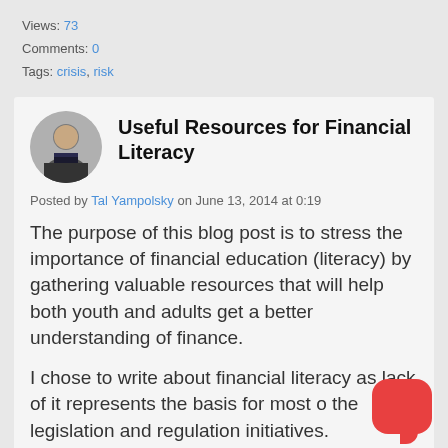Views: 73
Comments: 0
Tags: crisis, risk
Useful Resources for Financial Literacy
Posted by Tal Yampolsky on June 13, 2014 at 0:19
The purpose of this blog post is to stress the importance of financial education (literacy) by gathering valuable resources that will help both youth and adults get a better understanding of finance.
I chose to write about financial literacy as lack of it represents the basis for most of the legislation and regulation initiatives.